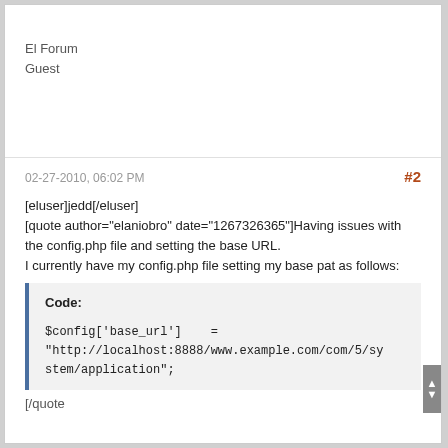El Forum
Guest
02-27-2010, 06:02 PM
#2
[eluser]jedd[/eluser]
[quote author="elaniobro" date="1267326365"]Having issues with the config.php file and setting the base URL.
I currently have my config.php file setting my base pat as follows:
Code:
$config['base_url']    =
"http://localhost:8888/www.example.com/com/5/system/application";
[/quote]